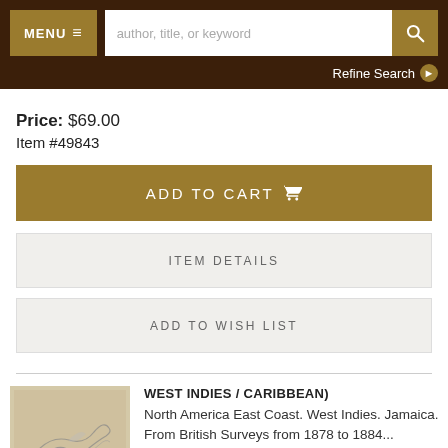MENU | author, title, or keyword | [search icon] | Refine Search
Price: $69.00
Item #49843
ADD TO CART
ITEM DETAILS
ADD TO WISH LIST
[Figure (illustration): Small antique map or chart illustration showing land/coastline sketch on aged paper background]
WEST INDIES / CARIBBEAN)
North America East Coast. West Indies. Jamaica. From British Surveys from 1878 to 1884...